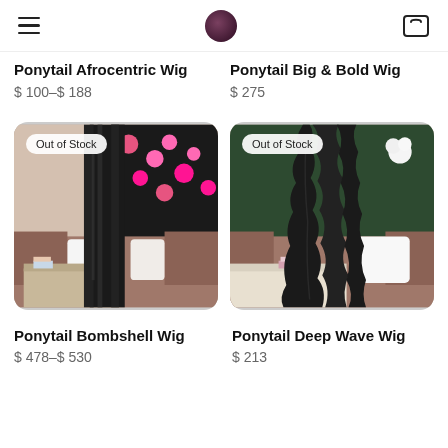Navigation header with hamburger menu, logo, and cart icon
Ponytail Afrocentric Wig
$ 100–$ 188
Ponytail Big & Bold Wig
$ 275
[Figure (photo): Photo of a long straight black ponytail wig shown from behind, with 'Out of Stock' badge, living room background]
[Figure (photo): Photo of a long deep wave black ponytail wig shown from behind, with 'Out of Stock' badge, living room background]
Ponytail Bombshell Wig
$ 478–$ 530
Ponytail Deep Wave Wig
$ 213